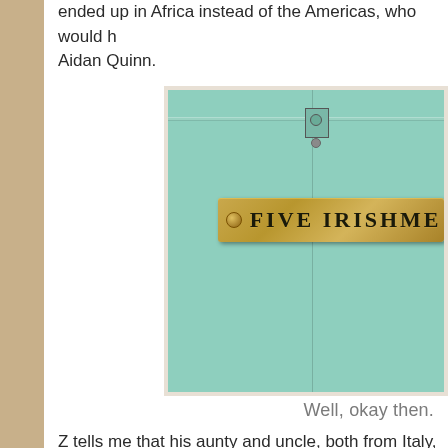ended up in Africa instead of the Americas, who would have... Aidan Quinn.
[Figure (photo): Close-up photo of a mint/teal painted door with a brass name plate reading 'FIVE IRISHME' (Five Irishmen, cut off at right edge). A door bolt mechanism is visible at the top center.]
Well, okay then.
Z tells me that his aunty and uncle, both from Italy, had...